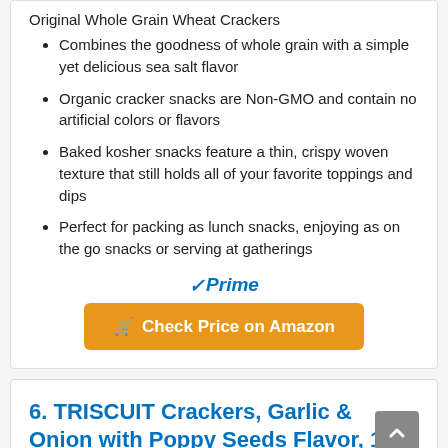Original Whole Grain Wheat Crackers
Combines the goodness of whole grain with a simple yet delicious sea salt flavor
Organic cracker snacks are Non-GMO and contain no artificial colors or flavors
Baked kosher snacks feature a thin, crispy woven texture that still holds all of your favorite toppings and dips
Perfect for packing as lunch snacks, enjoying as on the go snacks or serving at gatherings
[Figure (logo): Amazon Prime badge with checkmark and italic 'Prime' text in blue]
Check Price on Amazon
6. TRISCUIT Crackers, Garlic & Onion with Poppy Seeds Flavor, 1...